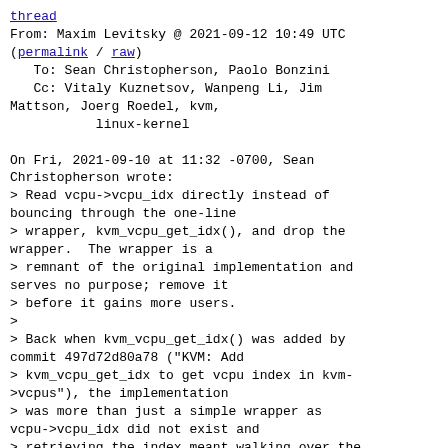thread
From: Maxim Levitsky @ 2021-09-12 10:49 UTC
(permalink / raw)
   To: Sean Christopherson, Paolo Bonzini
   Cc: Vitaly Kuznetsov, Wanpeng Li, Jim Mattson, Joerg Roedel, kvm,
           linux-kernel

On Fri, 2021-09-10 at 11:32 -0700, Sean Christopherson wrote:
> Read vcpu->vcpu_idx directly instead of bouncing through the one-line
> wrapper, kvm_vcpu_get_idx(), and drop the wrapper.  The wrapper is a
> remnant of the original implementation and serves no purpose; remove it
> before it gains more users.
>
> Back when kvm_vcpu_get_idx() was added by commit 497d72d80a78 ("KVM: Add
> kvm_vcpu_get_idx to get vcpu index in kvm->vcpus"), the implementation
> was more than just a simple wrapper as vcpu->vcpu_idx did not exist and
> retrieving the index meant walking over the vCPU array to find the given
> vCPU.
>
> When vcpu_idx was introduced by commit 8750e72a79dd ("KVM: remember